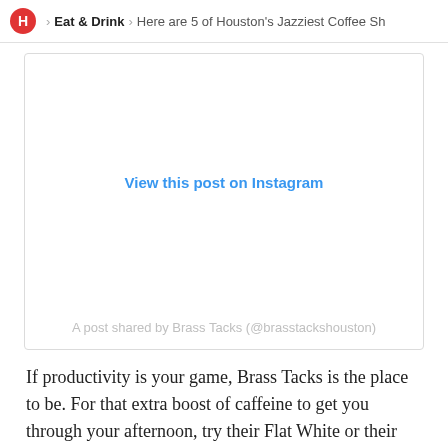H > Eat & Drink > Here are 5 of Houston's Jazziest Coffee Sh
[Figure (screenshot): Embedded Instagram post placeholder with 'View this post on Instagram' link and caption 'A post shared by Brass Tacks (@brasstackshouston)']
If productivity is your game, Brass Tacks is the place to be. For that extra boost of caffeine to get you through your afternoon, try their Flat White or their Nitro Cold